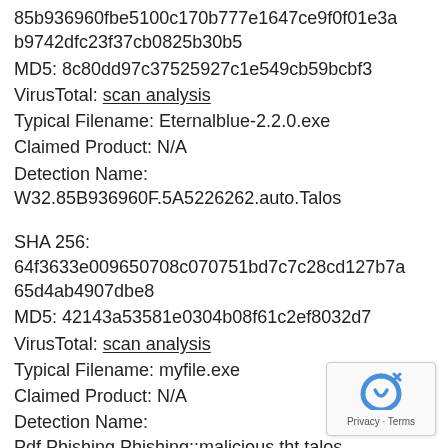85b936960fbe5100c170b777e1647ce9f0f01e3ab9742dfc23f37cb0825b30b5
MD5: 8c80dd97c37525927c1e549cb59bcbf3
VirusTotal: scan analysis
Typical Filename: Eternalblue-2.2.0.exe
Claimed Product: N/A
Detection Name: W32.85B936960F.5A5226262.auto.Talos
SHA 256: 64f3633e009650708c070751bd7c7c28cd127b7a65d4ab4907dbe8
MD5: 42143a53581e0304b08f61c2ef8032d7
VirusTotal: scan analysis
Typical Filename: myfile.exe
Claimed Product: N/A
Detection Name: Pdf.Phishing.Phishing::malicious.tht.talos